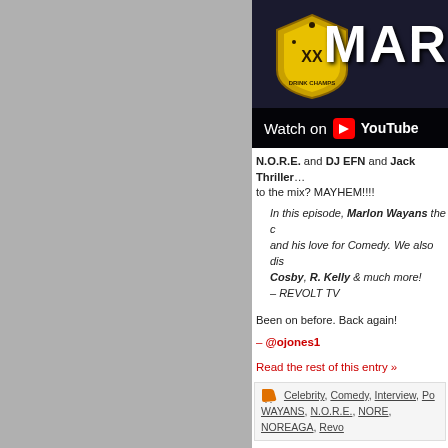[Figure (screenshot): Left gray sidebar panel of a website]
[Figure (screenshot): Drink Champs YouTube video thumbnail showing logo and MAR text with Watch on YouTube bar]
N.O.R.E. and DJ EFN and Jack Thriller… to the mix? MAYHEM!!!!
In this episode, Marlon Wayans the and his love for Comedy. We also di Cosby, R. Kelly & much more! – REVOLT TV
Been on before. Back again!
– @ojones1
Read the rest of this entry »
Posted in Celebrity, Comedy, Interview, Po... WAYANS, N.O.R.E., NORE, NOREAGA, Revo...
Drink Champs
July 29, 2019
[Figure (screenshot): Bottom video thumbnail with dark background and red circular element]